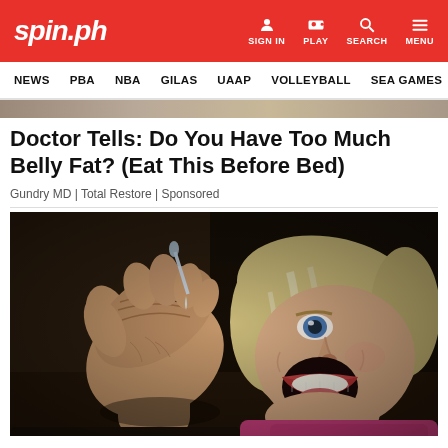spin.ph | SIGN IN | PLAY | SEARCH | MENU
NEWS | PBA | NBA | GILAS | UAAP | VOLLEYBALL | SEA GAMES
[Figure (photo): Thin banner photo strip at top of article]
Doctor Tells: Do You Have Too Much Belly Fat? (Eat This Before Bed)
Gundry MD | Total Restore | Sponsored
[Figure (photo): Elderly woman with blonde/grey hair and blue eyes tilting head back, using a dropper to place liquid into her open mouth. She wears a pink top and a ring on her hand. Dark background.]